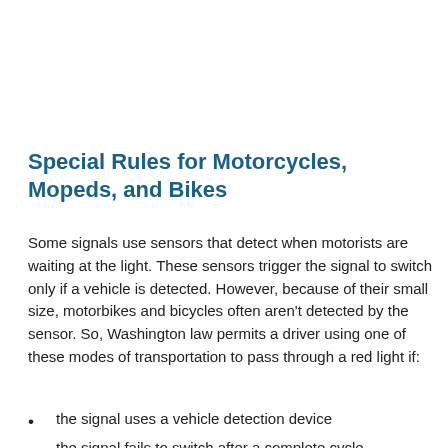Special Rules for Motorcycles, Mopeds, and Bikes
Some signals use sensors that detect when motorists are waiting at the light. These sensors trigger the signal to switch only if a vehicle is detected. However, because of their small size, motorbikes and bicycles often aren't detected by the sensor. So, Washington law permits a driver using one of these modes of transportation to pass through a red light if:
the signal uses a vehicle detection device
the signal fails to switch after a complete cycle